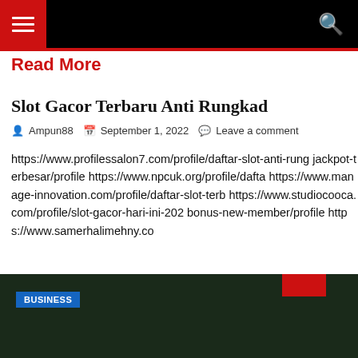Navigation bar with hamburger menu and search icon
Read More
Slot Gacor Terbaru Anti Rungkad
Ampun88   September 1, 2022   Leave a comment
https://www.profilessalon7.com/profile/daftar-slot-anti-rung jackpot-terbesar/profile https://www.npcuk.org/profile/dafta https://www.manage-innovation.com/profile/daftar-slot-terb https://www.studiocooca.com/profile/slot-gacor-hari-ini-202 bonus-new-member/profile https://www.samerhalimehny.co
[Figure (photo): Dark green blurred background image with a BUSINESS category tag in blue and a red accent in the top right corner]